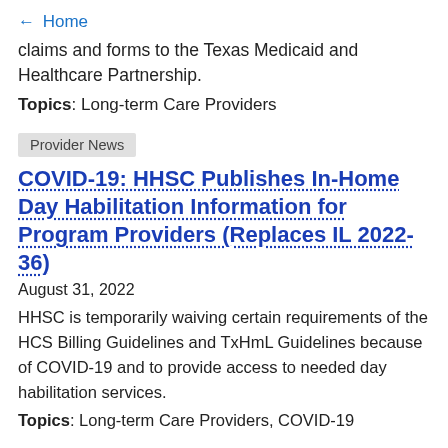← Home
claims and forms to the Texas Medicaid and Healthcare Partnership.
Topics: Long-term Care Providers
Provider News
COVID-19: HHSC Publishes In-Home Day Habilitation Information for Program Providers (Replaces IL 2022-36)
August 31, 2022
HHSC is temporarily waiving certain requirements of the HCS Billing Guidelines and TxHmL Guidelines because of COVID-19 and to provide access to needed day habilitation services.
Topics: Long-term Care Providers, COVID-19